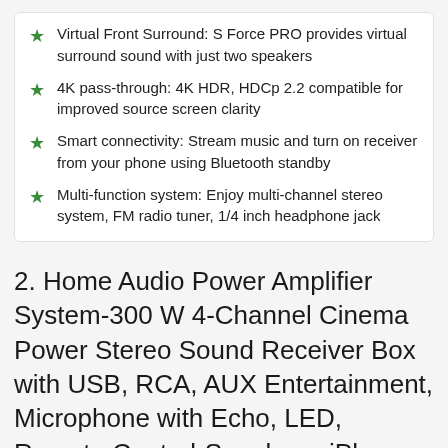Virtual Front Surround: S Force PRO provides virtual surround sound with just two speakers
4K pass-through: 4K HDR, HDCp 2.2 compatible for improved source screen clarity
Smart connectivity: Stream music and turn on receiver from your phone using Bluetooth standby
Multi-function system: Enjoy multi-channel stereo system, FM radio tuner, 1/4 inch headphone jack
2. Home Audio Power Amplifier System-300 W 4-Channel Cinema Power Stereo Sound Receiver Box with USB, RCA, AUX Entertainment, Microphone with Echo, LED, Remote Control-Speakers, iPhone, PA, Studio-Pyle PT390AU – Inexpensive Budget Pick in USA